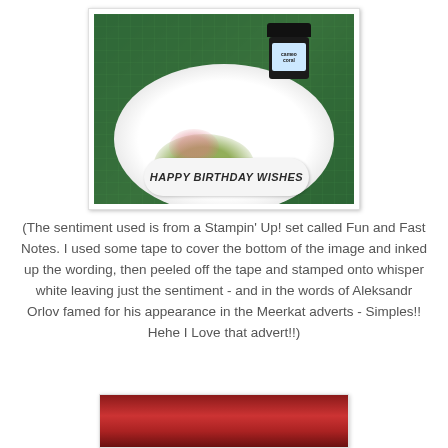[Figure (photo): A craft/stamping photo showing a white oval plate on a green cutting mat, with olive/yellow-green ink spread on the plate, a pink ink spot, a sentiment tag reading 'HAPPY BIRTHDAY WISHES', and a dark jar labeled 'cameo coral' in the background.]
(The sentiment used is from a Stampin' Up! set called Fun and Fast Notes. I used some tape to cover the bottom of the image and inked up the wording, then peeled off the tape and stamped onto whisper white leaving just the sentiment - and in the words of Aleksandr Orlov famed for his appearance in the Meerkat adverts - Simples!! Hehe I Love that advert!!)
[Figure (photo): Partial view of another crafting photo at the bottom of the page, showing red/dark red colors.]